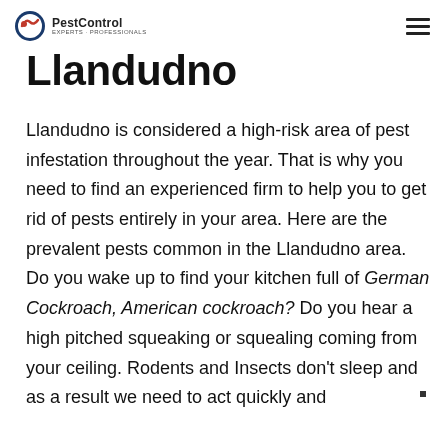PestControl
Llandudno
Llandudno is considered a high-risk area of pest infestation throughout the year. That is why you need to find an experienced firm to help you to get rid of pests entirely in your area. Here are the prevalent pests common in the Llandudno area. Do you wake up to find your kitchen full of German Cockroach, American cockroach? Do you hear a high pitched squeaking or squealing coming from your ceiling. Rodents and Insects don't sleep and as a result we need to act quickly and